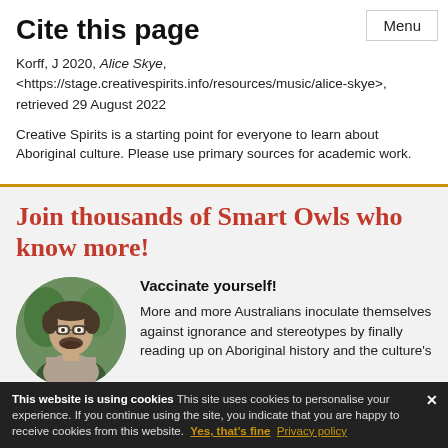Menu
Cite this page
Korff, J 2020, Alice Skye, <https://stage.creativespirits.info/resources/music/alice-skye>, retrieved 29 August 2022
Creative Spirits is a starting point for everyone to learn about Aboriginal culture. Please use primary sources for academic work.
Join thousands of Smart Owls who know more!
[Figure (photo): Circular portrait photo of a man with glasses and beard, outdoors with greenery in background]
Vaccinate yourself!
More and more Australians inoculate themselves against ignorance and stereotypes by finally reading up on Aboriginal history and the culture's ...
This website is using cookies This site uses cookies to personalise your experience. If you continue using the site, you indicate that you are happy to receive cookies from this website. Yes, that's fine Privacy policy